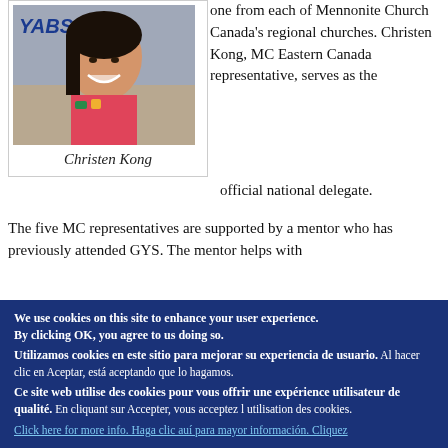[Figure (photo): Photo of Christen Kong, a young woman smiling, with a YABS logo visible in the top left corner of the image. Framed in a bordered box.]
Christen Kong
one from each of Mennonite Church Canada’s regional churches. Christen Kong, MC Eastern Canada representative, serves as the official national delegate.
The five MC representatives are supported by a mentor who has previously attended GYS. The mentor helps with
We use cookies on this site to enhance your user experience. By clicking OK, you agree to us doing so. Utilizamos cookies en este sitio para mejorar su experiencia de usuario. Al hacer clic en Aceptar, está aceptando que lo hagamos. Ce site web utilise des cookies pour vous offrir une expérience utilisateur de qualité. En cliquant sur Accepter, vous acceptez l utilisation des cookies. Click here for more info. Haga clic auí para mayor información. Cliquez